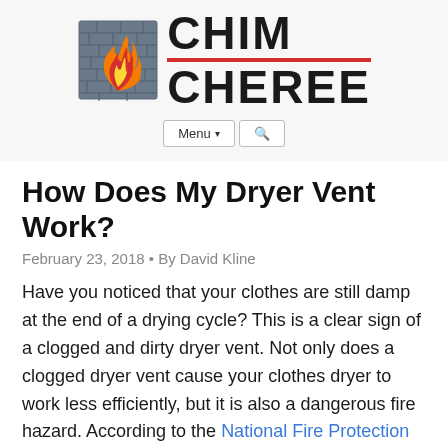[Figure (logo): Chim Cheree logo with chimney/flame icon and bold text 'CHIM CHEREE' with red divider line]
How Does My Dryer Vent Work?
February 23, 2018 • By David Kline
Have you noticed that your clothes are still damp at the end of a drying cycle? This is a clear sign of a clogged and dirty dryer vent. Not only does a clogged dryer vent cause your clothes dryer to work less efficiently, but it is also a dangerous fire hazard. According to the National Fire Protection Association (NFPA), there were approximately 15,970 residential fires that were related to clothes dryers between 2010 and 2014. These fires resulted in an